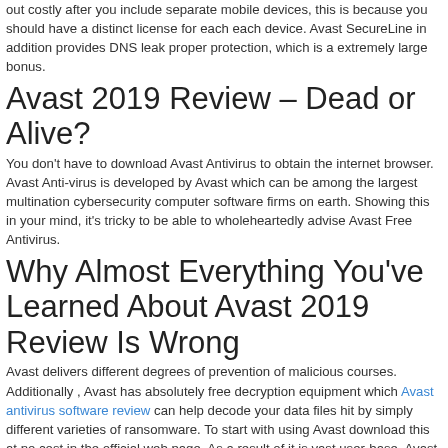out costly after you include separate mobile devices, this is because you should have a distinct license for each each device. Avast SecureLine in addition provides DNS leak proper protection, which is a extremely large bonus.
Avast 2019 Review – Dead or Alive?
You don't have to download Avast Antivirus to obtain the internet browser. Avast Anti-virus is developed by Avast which can be among the largest multination cybersecurity computer software firms on earth. Showing this in your mind, it's tricky to be able to wholeheartedly advise Avast Free Antivirus.
Why Almost Everything You've Learned About Avast 2019 Review Is Wrong
Avast delivers different degrees of prevention of malicious courses. Additionally , Avast has absolutely free decryption equipment which Avast antivirus software review can help decode your data files hit by simply different varieties of ransomware. To start with using Avast download this at no cost in the official web page. As a result of it is vast user-base, Avast is also among the best plans in the